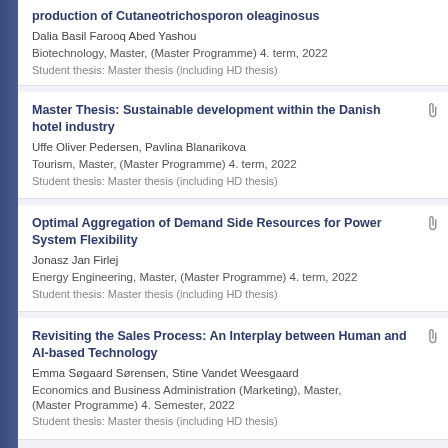production of Cutaneotrichosporon oleaginosus
Dalia Basil Farooq Abed Yashou
Biotechnology, Master, (Master Programme) 4. term, 2022
Student thesis: Master thesis (including HD thesis)
Master Thesis: Sustainable development within the Danish hotel industry
Uffe Oliver Pedersen, Pavlina Blanarikova
Tourism, Master, (Master Programme) 4. term, 2022
Student thesis: Master thesis (including HD thesis)
Optimal Aggregation of Demand Side Resources for Power System Flexibility
Jonasz Jan Firlej
Energy Engineering, Master, (Master Programme) 4. term, 2022
Student thesis: Master thesis (including HD thesis)
Revisiting the Sales Process: An Interplay between Human and AI-based Technology
Emma Søgaard Sørensen, Stine Vandet Weesgaard
Economics and Business Administration (Marketing), Master, (Master Programme) 4. Semester, 2022
Student thesis: Master thesis (including HD thesis)